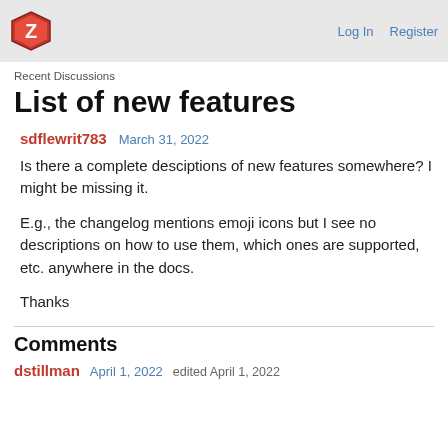Log In  Register
Recent Discussions
List of new features
sdflewrit783  March 31, 2022
Is there a complete desciptions of new features somewhere? I might be missing it.

E.g., the changelog mentions emoji icons but I see no descriptions on how to use them, which ones are supported, etc. anywhere in the docs.

Thanks
Comments
dstillman  April 1, 2022  edited April 1, 2022